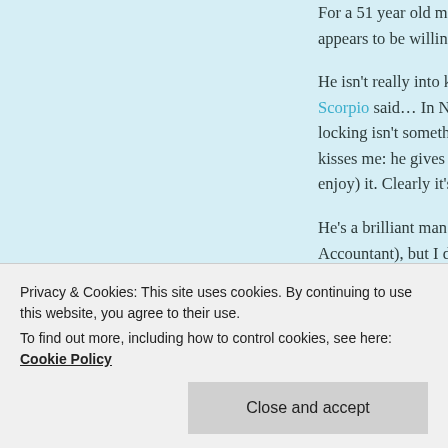For a 51 year old man he has quite the stamina. And while he's more vanilla than what I desire right now, he appears to be willing to express interest in me. So, that's a plus.
He isn't really into kissing, but at least it's not because of what Scorpio said… In Nigeria, kissing is a form of greeting so tongue locking isn't something they really do with women. When he kisses me: he gives me a quick peck so fast that I don't really enjoy) it. Clearly it's just a "Hello" or "Good-bye" thing.
He's a brilliant man with a Masters in Finance. Some kind of (Accountant), but I don't have a degree so I just listen to what he's saying.
Other times he wants to be like a therapist and counsels me about my recently-failed relationship with Loserman (this... he... ild... rp... it in a condescending way.
Privacy & Cookies: This site uses cookies. By continuing to use this website, you agree to their use.
To find out more, including how to control cookies, see here: Cookie Policy